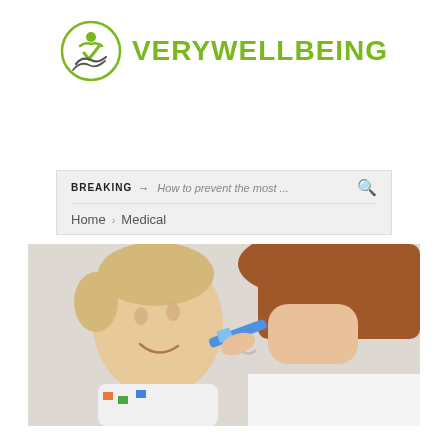[Figure (logo): VeryWellBeing logo with green circle containing a person and checkmark icon, followed by green uppercase text 'VERYWELLBEING']
BREAKING → How to prevent the most...
Home > Medical
[Figure (photo): A young blonde child smiling while a woman (visible from shoulders down in white top) holds a blue toothbrush to brush the child's teeth]